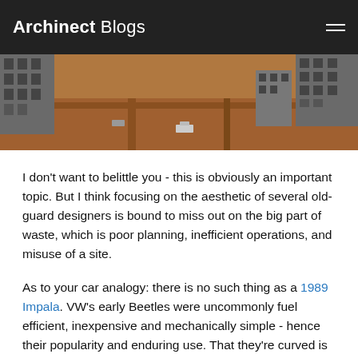Archinect Blogs
[Figure (photo): Aerial view of a large construction site with red/orange earth, partially built concrete structures on either side, construction vehicles and temporary buildings visible]
I don't want to belittle you - this is obviously an important topic. But I think focusing on the aesthetic of several old-guard designers is bound to miss out on the big part of waste, which is poor planning, inefficient operations, and misuse of a site.
As to your car analogy: there is no such thing as a 1989 Impala. VW's early Beetles were uncommonly fuel efficient, inexpensive and mechanically simple - hence their popularity and enduring use. That they're curved is actually well suited to the purpose of a car.